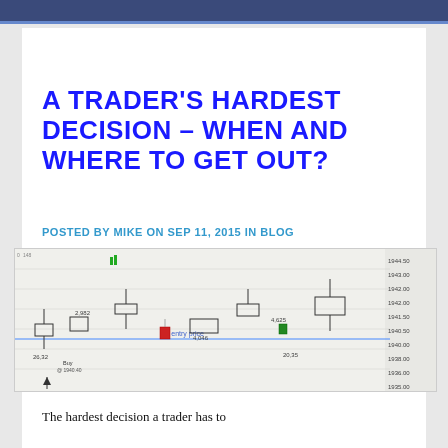A TRADER'S HARDEST DECISION – WHEN AND WHERE TO GET OUT?
POSTED BY MIKE ON SEP 11, 2015 IN BLOG
[Figure (screenshot): Trading platform screenshot showing candlestick chart with price levels, entry price line labeled 'My entry price', and annotations including values like 2,982, 4,046, 4,625, 26,32, 20,35]
The hardest decision a trader has to